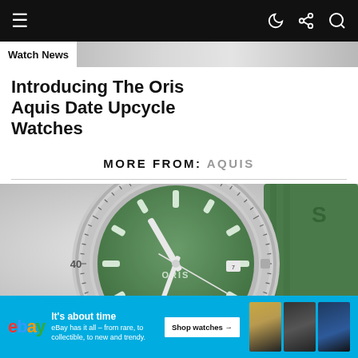≡   ) ⋮ 🔍
Watch News
Introducing The Oris Aquis Date Upcycle Watches
MORE FROM: AQUIS
[Figure (photo): Close-up photograph of an Oris Aquis watch with green dial and green rubber strap on a light grey surface]
× close
[Figure (infographic): eBay advertisement banner: 'It's about time — eBay has it all – from rare, to collectible, to new and trendy.' with Shop watches button and three watch thumbnail images]